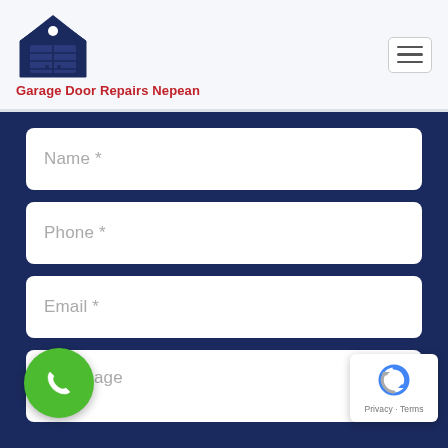Garage Door Repairs Nepean
Name *
Phone *
Email *
Messsage
[Figure (other): Green phone call floating button]
[Figure (other): reCAPTCHA badge with Privacy and Terms links]